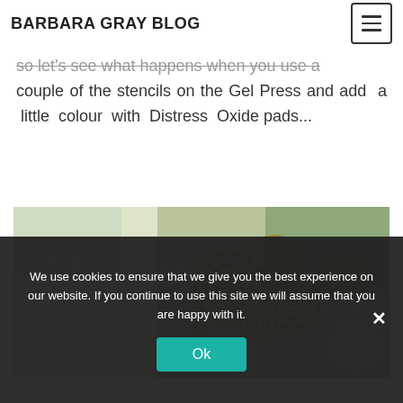BARBARA GRAY BLOG
so let's see what happens when you use a couple of the stencils on the Gel Press and add a little colour with Distress Oxide pads...
[Figure (photo): Craft art pieces showing spiral and swirl stencil patterns with green and teal Distress Oxide colors on paper using a Gel Press]
We use cookies to ensure that we give you the best experience on our website. If you continue to use this site we will assume that you are happy with it.